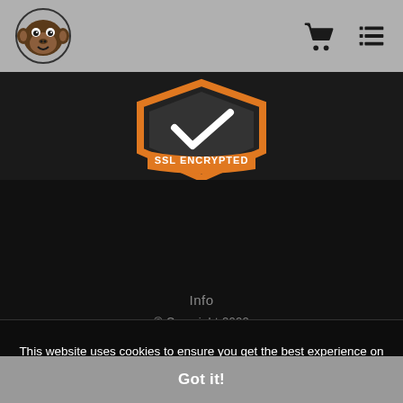Navigation header with monkey logo, cart icon, and list icon
[Figure (logo): SSL Encrypted shield badge, orange and dark, partially visible at top]
Info
© Copyright 2022
All Rights Reserved
This website uses cookies to ensure you get the best experience on our website.
Got it!